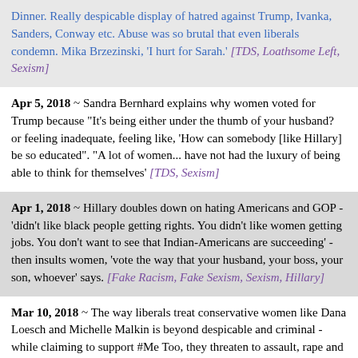Dinner. Really despicable display of hatred against Trump, Ivanka, Sanders, Conway etc. Abuse was so brutal that even liberals condemn. Mika Brzezinski, 'I hurt for Sarah.' [TDS, Loathsome Left, Sexism]
Apr 5, 2018 ~ Sandra Bernhard explains why women voted for Trump because "It's being either under the thumb of your husband? or feeling inadequate, feeling like, 'How can somebody [like Hillary] be so educated". "A lot of women... have not had the luxury of being able to think for themselves' [TDS, Sexism]
Apr 1, 2018 ~ Hillary doubles down on hating Americans and GOP - 'didn't like black people getting rights. You didn't like women getting jobs. You don't want to see that Indian-Americans are succeeding' - then insults women, 'vote the way that your husband, your boss, your son, whoever' says. [Fake Racism, Fake Sexism, Sexism, Hillary]
Mar 10, 2018 ~ The way liberals treat conservative women like Dana Loesch and Michelle Malkin is beyond despicable and criminal - while claiming to support #Me Too, they threaten to assault, rape and kill these women and their families. [Me Too, Violent Left, Sexism]
Jan 27, 2018 ~ Cher publicly shames Sarah Sanders on how she